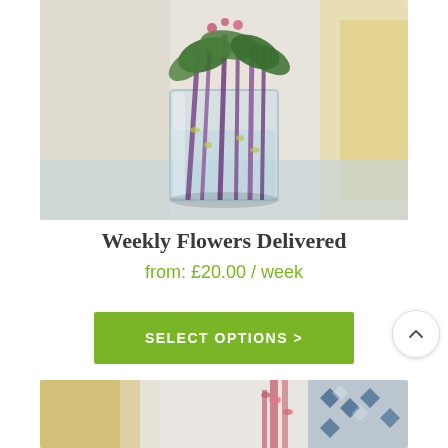[Figure (photo): A glass vase filled with water containing purple-stemmed green foliage, photographed in a light interior setting with blurred background.]
Weekly Flowers Delivered
from: £20.00 / week
SELECT OPTIONS >
[Figure (photo): Partial view of a floral arrangement with pink flowers and blue patterned fabric in the background.]